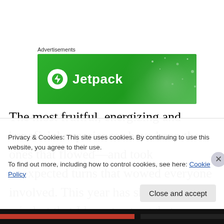[Figure (logo): Jetpack advertisement banner with green background and Jetpack logo (lightning bolt in white circle) with white text 'Jetpack']
The most fruitful, energizing and beneficial experiences have been the ones that flowed—and took unexpected turns that wowed everyone involved. This year has shaken the mindset that I have to struggle to succeed, and instead taught me that it's okay for things for things to flow. My
Privacy & Cookies: This site uses cookies. By continuing to use this website, you agree to their use.
To find out more, including how to control cookies, see here: Cookie Policy